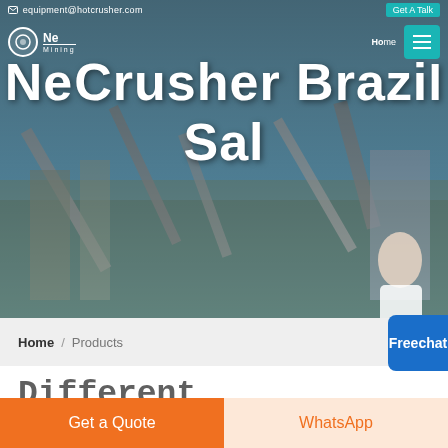equipment@hotcrusher.com  Get A Talk
[Figure (screenshot): Hero banner showing industrial mining/crushing plant with conveyor belts and machinery against a blue sky. Overlaid with large white text 'New Crusher Brazil Sale' and a customer service person image at bottom right.]
New Crusher Brazil Sale
Home / Products
Free chat
Different Machines To Meet All Need
[Figure (photo): Partial view of dark blue industrial machinery/equipment top strip]
Get a Quote
WhatsApp